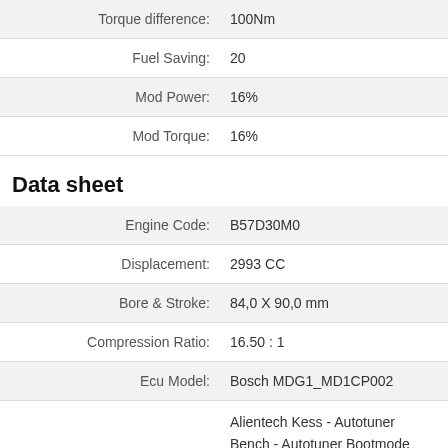| Label | Value |
| --- | --- |
| Torque difference: | 100Nm |
| Fuel Saving: | 20 |
| Mod Power: | 16% |
| Mod Torque: | 16% |
Data sheet
| Label | Value |
| --- | --- |
| Engine Code: | B57D30M0 |
| Displacement: | 2993 CC |
| Bore & Stroke: | 84,0 X 90,0 mm |
| Compression Ratio: | 16.50 : 1 |
| Ecu Model: | Bosch MDG1_MD1CP002 |
|  | Alientech Kess - Autotuner Bench - Autotuner Bootmode - Autotuner OBD - bFlash OBD - Bitbox- CMD CMD |